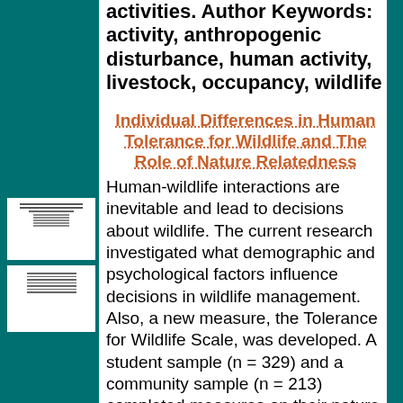activities. Author Keywords: activity, anthropogenic disturbance, human activity, livestock, occupancy, wildlife
Individual Differences in Human Tolerance for Wildlife and The Role of Nature Relatedness
Human-wildlife interactions are inevitable and lead to decisions about wildlife. The current research investigated what demographic and psychological factors influence decisions in wildlife management. Also, a new measure, the Tolerance for Wildlife Scale, was developed. A student sample (n = 329) and a community sample (n = 213) completed measures on their nature relatedness, environmental concern, and emotions towards wildlife. They completed the Tolerance for Wildlife Scale and rated